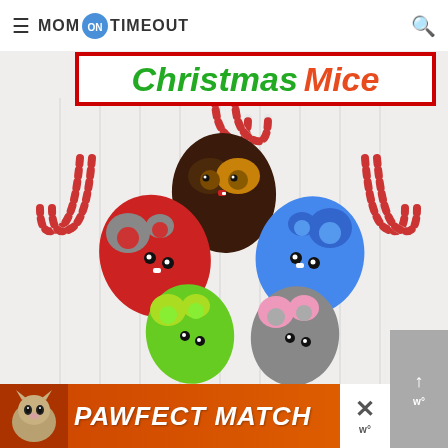MOM ON TIMEOUT
[Figure (photo): Banner showing 'Christmas Mice' text in green and orange italic lettering with red border, above a craft photo of colorful felt candy-cane mice (red, black/brown, blue, green, gray/pink) arranged on a white beadboard background. Candy canes visible as tails.]
[Figure (photo): Advertisement banner at bottom: orange background with cat photo on left and text 'PAWFECT MATCH' in white italic bold letters. Close X button top right. Side panel with up arrow.]